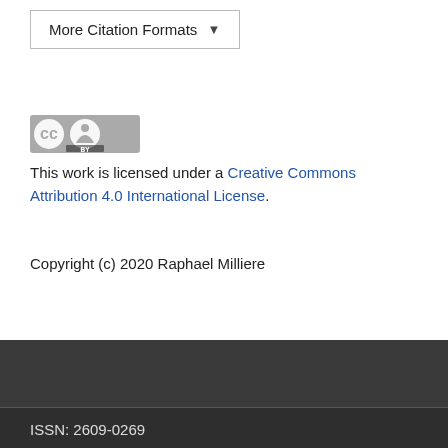[Figure (other): More Citation Formats button with dropdown arrow]
[Figure (logo): Creative Commons BY license badge]
This work is licensed under a Creative Commons Attribution 4.0 International License.
Copyright (c) 2020 Raphael Milliere
ISSN: 2609-0269